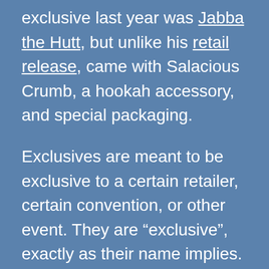exclusive last year was Jabba the Hutt, but unlike his retail release, came with Salacious Crumb, a hookah accessory, and special packaging.
Exclusives are meant to be exclusive to a certain retailer, certain convention, or other event. They are “exclusive”, exactly as their name implies.
Exclusive, as defined by the Merriam-Webster dictionary, is “limiting or limited to possession, control, or use by a single individual or group”. Alternatively, exclusive also means “restricted